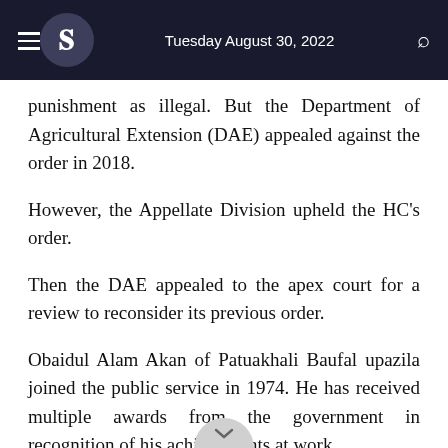Tuesday August 30, 2022
punishment as illegal. But the Department of Agricultural Extension (DAE) appealed against the order in 2018.
However, the Appellate Division upheld the HC's order.
Then the DAE appealed to the apex court for a review to reconsider its previous order.
Obaidul Alam Akan of Patuakhali Baufal upazila joined the public service in 1974. He has received multiple awards from the government in recognition of his achievements at work.